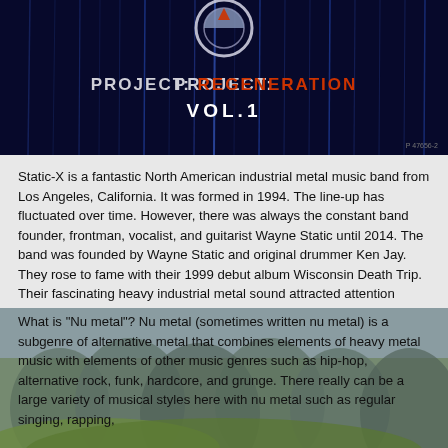[Figure (photo): Album cover for Static-X Project Regeneration Vol.1 — dark navy blue background with vertical streaks of light, a circular emblem at top center, bold text reading PROJECT: REGENERATION in white and red, and VOL.1 below in white. Product code P 47656-2 at bottom right.]
Static-X is a fantastic North American industrial metal music band from Los Angeles, California. It was formed in 1994. The line-up has fluctuated over time. However, there was always the constant band founder, frontman, vocalist, and guitarist Wayne Static until 2014. The band was founded by Wayne Static and original drummer Ken Jay. They rose to fame with their 1999 debut album Wisconsin Death Trip. Their fascinating heavy industrial metal sound attracted attention within the "nu metal" movement of the late 1990s.
What is "Nu metal"? Nu metal (sometimes written nu metal) is a subgenre of alternative metal that combines elements of heavy metal music with elements of other music genres such as hip-hop, alternative rock, funk, hardcore, and grunge. There really can be a large variety of musical styles here with nu metal such as regular singing, rapping,